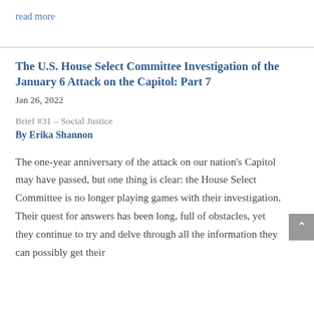read more
The U.S. House Select Committee Investigation of the January 6 Attack on the Capitol: Part 7
Jan 26, 2022
Brief #31 – Social Justice
By Erika Shannon
The one-year anniversary of the attack on our nation's Capitol may have passed, but one thing is clear: the House Select Committee is no longer playing games with their investigation. Their quest for answers has been long, full of obstacles, yet they continue to try and delve through all the information they can possibly get their